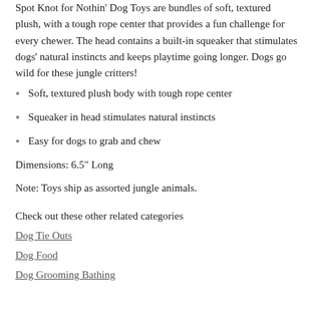Spot Knot for Nothin' Dog Toys are bundles of soft, textured plush, with a tough rope center that provides a fun challenge for every chewer. The head contains a built-in squeaker that stimulates dogs' natural instincts and keeps playtime going longer. Dogs go wild for these jungle critters!
Soft, textured plush body with tough rope center
Squeaker in head stimulates natural instincts
Easy for dogs to grab and chew
Dimensions: 6.5" Long
Note: Toys ship as assorted jungle animals.
Check out these other related categories
Dog Tie Outs
Dog Food
Dog Grooming Bathing